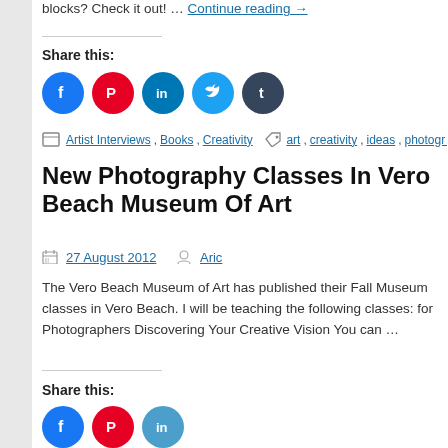blocks? Check it out! … Continue reading →
Share this:
[Figure (infographic): Five social media sharing buttons: Facebook (blue), Pinterest (red), LinkedIn (blue), Twitter (light blue), Tumblr (dark navy)]
Artist Interviews, Books, Creativity  art, creativity, ideas, photogr…
New Photography Classes In Vero Beach Museum Of Art
27 August 2012  Aric
The Vero Beach Museum of Art has published their Fall Museum classes in Vero Beach. I will be teaching the following classes: for Photographers Discovering Your Creative Vision You can …
Share this:
[Figure (infographic): Partial row of social media sharing buttons at bottom: Facebook (blue), Pinterest (red), and more partially visible]